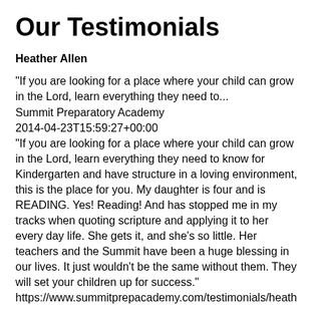Our Testimonials
Heather Allen
"If you are looking for a place where your child can grow in the Lord, learn everything they need to...
Summit Preparatory Academy
2014-04-23T15:59:27+00:00
"If you are looking for a place where your child can grow in the Lord, learn everything they need to know for Kindergarten and have structure in a loving environment, this is the place for you. My daughter is four and is READING. Yes! Reading! And has stopped me in my tracks when quoting scripture and applying it to her every day life. She gets it, and she's so little. Her teachers and the Summit have been a huge blessing in our lives. It just wouldn't be the same without them. They will set your children up for success."
https://www.summitprepacademy.com/testimonials/heath